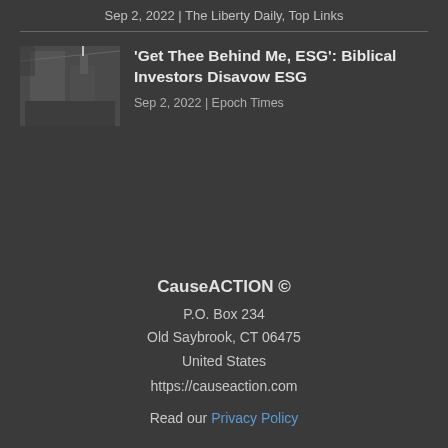Sep 2, 2022 | The Liberty Daily, Top Links
[Figure (photo): Thumbnail image of a building with flags]
'Get Thee Behind Me, ESG': Biblical Investors Disavow ESG
Sep 2, 2022 | Epoch Times
CauseACTION ©
P.O. Box 234
Old Saybrook, CT 06475
United States
https://causeaction.com
Read our Privacy Policy